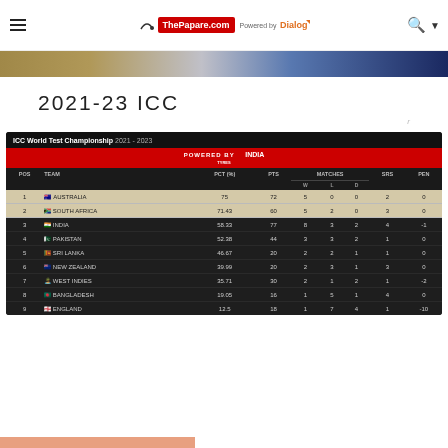ThePapare.com Powered by Dialog
[Figure (photo): Cricket hero banner image with player and blue/tan gradient]
2021-23  ICC
| POS | TEAM | PCT (%) | PTS | W | L | D | SRS | PEN |
| --- | --- | --- | --- | --- | --- | --- | --- | --- |
| 1 | AUSTRALIA | 75 | 72 | 5 | 0 | 0 | 2 | 0 |
| 2 | SOUTH AFRICA | 71.43 | 60 | 5 | 2 | 0 | 3 | 0 |
| 3 | INDIA | 58.33 | 77 | 8 | 3 | 2 | 4 | -1 |
| 4 | PAKISTAN | 52.38 | 44 | 3 | 3 | 2 | 1 | 0 |
| 5 | SRI LANKA | 46.67 | 20 | 2 | 2 | 1 | 1 | 0 |
| 6 | NEW ZEALAND | 39.99 | 20 | 2 | 3 | 1 | 3 | 0 |
| 7 | WEST INDIES | 35.71 | 30 | 2 | 1 | 2 | 1 | -2 |
| 8 | BANGLADESH | 19.05 | 16 | 1 | 5 | 1 | 4 | 0 |
| 9 | ENGLAND | 12.5 | 18 | 1 | 7 | 4 | 1 | -10 |